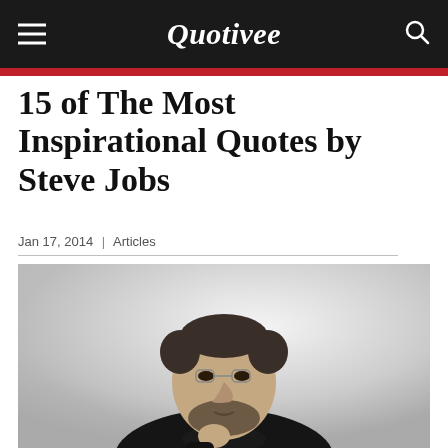Quotivee
15 of The Most Inspirational Quotes by Steve Jobs
Jan 17, 2014 | Articles
[Figure (photo): Black and white portrait photo of Steve Jobs, wearing a black turtleneck, with hand raised to chin in a thoughtful pose]